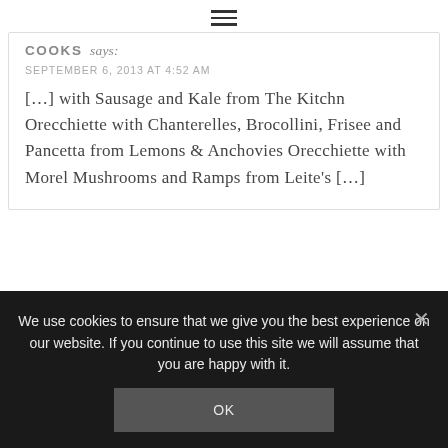☰
COOKS says:
SEPTEMBER 6, 2013 AT 4:52 AM
[…] with Sausage and Kale from The Kitchn Orecchiette with Chanterelles, Brocollini, Frisee and Pancetta from Lemons & Anchovies Orecchiette with Morel Mushrooms and Ramps from Leite's […]
We use cookies to ensure that we give you the best experience on our website. If you continue to use this site we will assume that you are happy with it.
OK